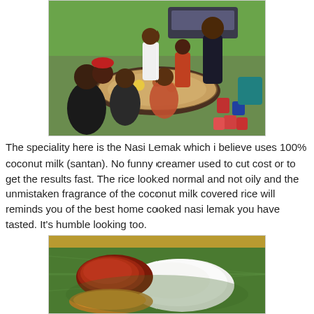[Figure (photo): Group of people in cycling jerseys sitting and standing around a table at an outdoor food stall, with containers of food and drinks visible, trees and a car in the background.]
The speciality here is the Nasi Lemak which i believe uses 100% coconut milk (santan). No funny creamer used to cut cost or to get the results fast. The rice looked normal and not oily and the unmistaken fragrance of the coconut milk covered rice will reminds you of the best home cooked nasi lemak you have tasted. It's humble looking too.
[Figure (photo): A plate of Nasi Lemak served on a banana leaf, showing white rice topped with red sambal chili paste, with additional side dishes, displayed on a colorful tablecloth.]